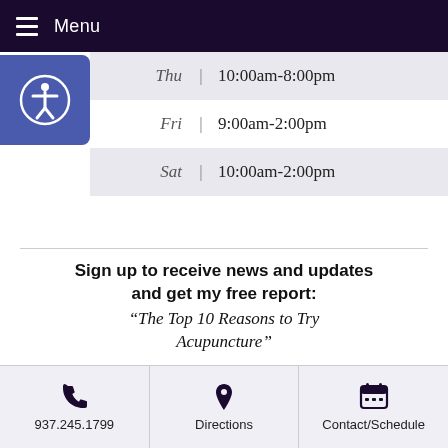Menu
| Day |  | Hours |
| --- | --- | --- |
| Thu | | | 10:00am-8:00pm |
| Fri | | | 9:00am-2:00pm |
| Sat | | | 10:00am-2:00pm |
Sign up to receive news and updates and get my free report: “The Top 10 Reasons to Try Acupuncture”
[Figure (illustration): A spiral-bound booklet with the title 'Top 10 Reasons to Try Acupuncture' on the cover.]
937.245.1799 | Directions | Contact/Schedule